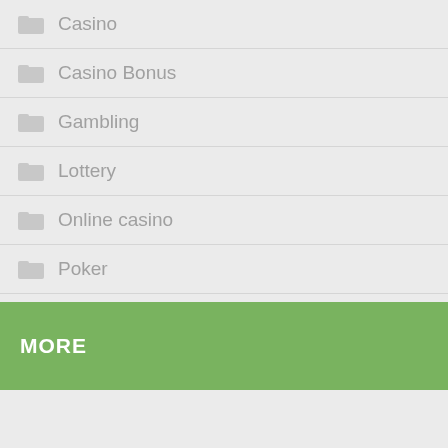Casino
Casino Bonus
Gambling
Lottery
Online casino
Poker
slot
MORE